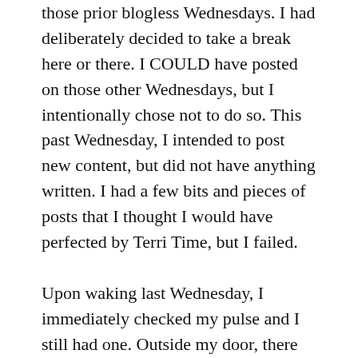those prior blogless Wednesdays. I had deliberately decided to take a break here or there. I COULD have posted on those other Wednesdays, but I intentionally chose not to do so. This past Wednesday, I intended to post new content, but did not have anything written. I had a few bits and pieces of posts that I thought I would have perfected by Terri Time, but I failed.
Upon waking last Wednesday, I immediately checked my pulse and I still had one. Outside my door, there was every indication that the earth was still turning on its axis and revolving around the sun. No one contacted me to let me know they were missing any body parts or vital portions of their psyches because there was no